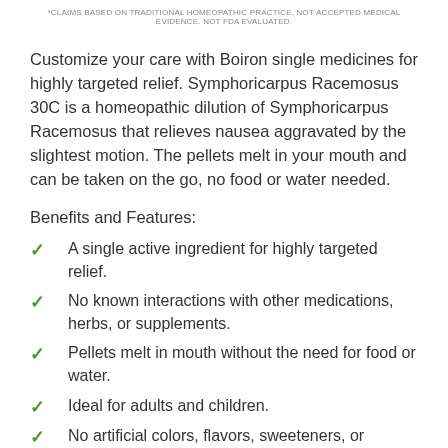*CLAIMS BASED ON TRADITIONAL HOMEOPATHIC PRACTICE, NOT ACCEPTED MEDICAL EVIDENCE. NOT FDA EVALUATED.
Customize your care with Boiron single medicines for highly targeted relief. Symphoricarpus Racemosus 30C is a homeopathic dilution of Symphoricarpus Racemosus that relieves nausea aggravated by the slightest motion. The pellets melt in your mouth and can be taken on the go, no food or water needed.
Benefits and Features:
A single active ingredient for highly targeted relief.
No known interactions with other medications, herbs, or supplements.
Pellets melt in mouth without the need for food or water.
Ideal for adults and children.
No artificial colors, flavors, sweeteners, or